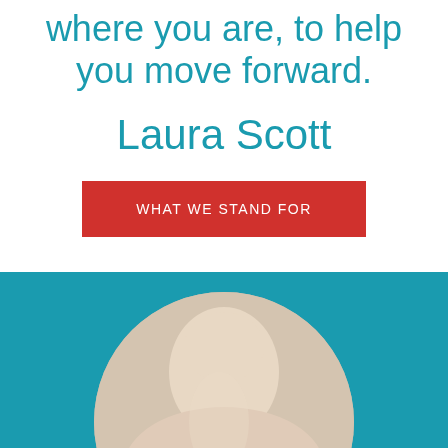where you are, to help you move forward.
Laura Scott
WHAT WE STAND FOR
[Figure (photo): Circular cropped photo of a woman with hands clasped, shown from chin to mid-torso, against a light beige/grey background. Displayed on a teal background.]